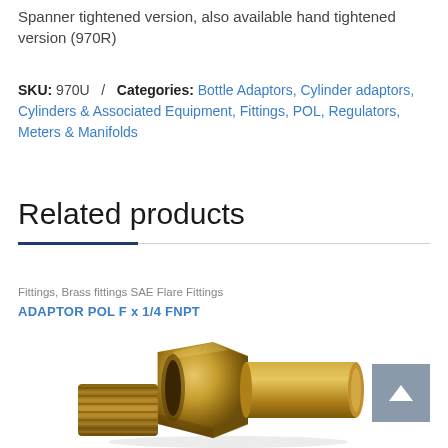Spanner tightened version, also available hand tightened version (970R)
SKU: 970U  /  Categories: Bottle Adaptors, Cylinder adaptors, Cylinders & Associated Equipment, Fittings, POL, Regulators, Meters & Manifolds
Related products
Fittings, Brass fittings SAE Flare Fittings
ADAPTOR POL F x 1/4 FNPT
[Figure (photo): Brass POL female x 1/4 FNPT adaptor fitting, showing hexagonal nut end and cylindrical body, photographed on white background]